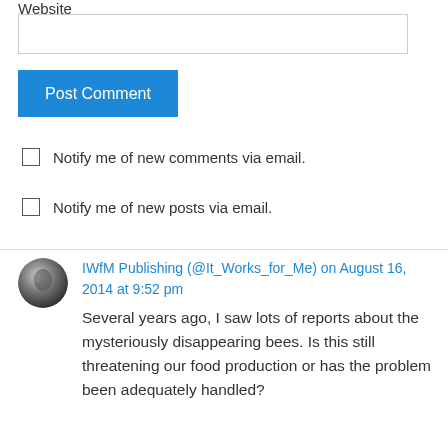Website
[Figure (screenshot): Empty text input field for website URL]
Post Comment
Notify me of new comments via email.
Notify me of new posts via email.
IWfM Publishing (@It_Works_for_Me) on August 16, 2014 at 9:52 pm
Several years ago, I saw lots of reports about the mysteriously disappearing bees. Is this still threatening our food production or has the problem been adequately handled?